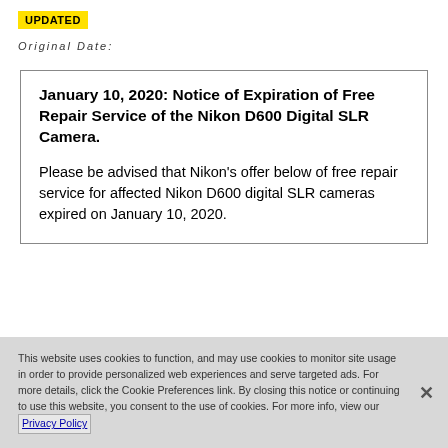UPDATED
Original Date:
January 10, 2020: Notice of Expiration of Free Repair Service of the Nikon D600 Digital SLR Camera.
Please be advised that Nikon’s offer below of free repair service for affected Nikon D600 digital SLR cameras expired on January 10, 2020.
This website uses cookies to function, and may use cookies to monitor site usage in order to provide personalized web experiences and serve targeted ads. For more details, click the Cookie Preferences link. By closing this notice or continuing to use this website, you consent to the use of cookies. For more info, view our Privacy Policy